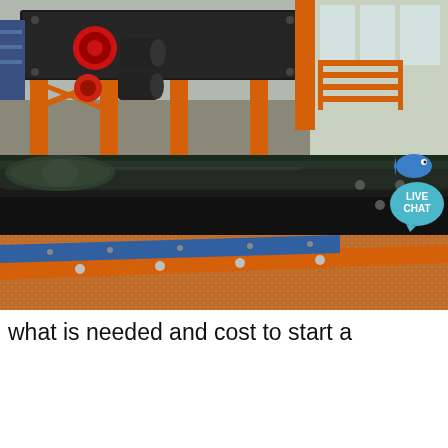[Figure (photo): Three stacked industrial equipment photos: top shows a large orange vibrating screen/crusher machine in a factory/warehouse setting; middle shows close-up of a black conveyor belt roller; bottom shows a close-up of an orange/copper mesh screen with a blue sideboard and orange frame. A teal 'LIVE CHAT' speech bubble with a fish icon appears in the top-right corner.]
what is needed and cost to start a